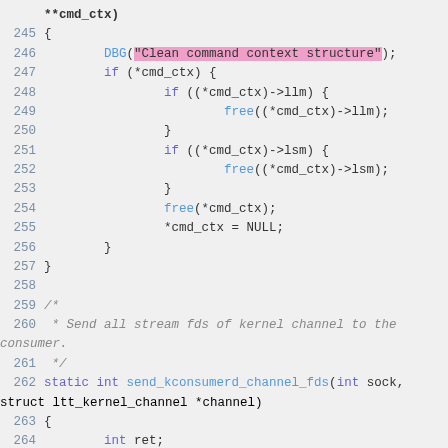Source code listing, lines 245-266, C language, showing a function for cleaning command context structure and beginning of send_kconsumerd_channel_fds function.